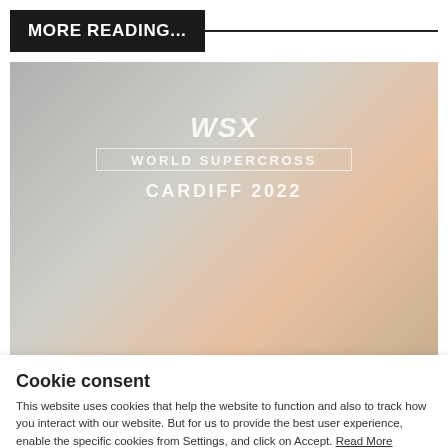MORE READING...
[Figure (photo): Faded/greyed promotional image for WSX World Supercross Cardiff 2022 event, showing motocross riders with overlaid event branding text]
Cookie consent
This website uses cookies that help the website to function and also to track how you interact with our website. But for us to provide the best user experience, enable the specific cookies from Settings, and click on Accept. Read More